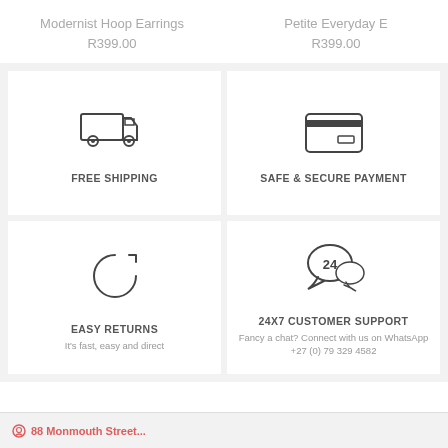Modernist Hoop Earrings
R399.00
Petite Everyday E
R399.00
[Figure (illustration): Truck / delivery icon]
FREE SHIPPING
[Figure (illustration): Credit card / safe payment icon]
SAFE & SECURE PAYMENT
[Figure (illustration): Circular return arrow icon]
EASY RETURNS
It's fast, easy and direct
[Figure (illustration): Speech bubble with 24 inside, customer support icon]
24x7 CUSTOMER SUPPORT
Fancy a chat? Connect with us on WhatsApp +27 (0) 79 329 4582
88 Monmouth Street...